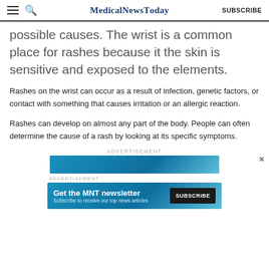MedicalNewsToday | SUBSCRIBE
possible causes. The wrist is a common place for rashes because it the skin is sensitive and exposed to the elements.
Rashes on the wrist can occur as a result of infection, genetic factors, or contact with something that causes irritation or an allergic reaction.
Rashes can develop on almost any part of the body. People can often determine the cause of a rash by looking at its specific symptoms.
ADVERTISEMENT
[Figure (infographic): Advertisement banner with teal/blue background]
ADVERTISEMENT
[Figure (infographic): Get the MNT newsletter. Subscribe to receive our top news articles. SUBSCRIBE button.]